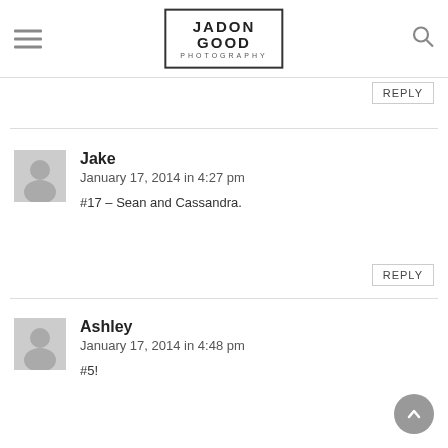JADON GOOD PHOTOGRAPHY
REPLY
Jake
January 17, 2014 in 4:27 pm
#17 – Sean and Cassandra.
REPLY
Ashley
January 17, 2014 in 4:48 pm
#5!